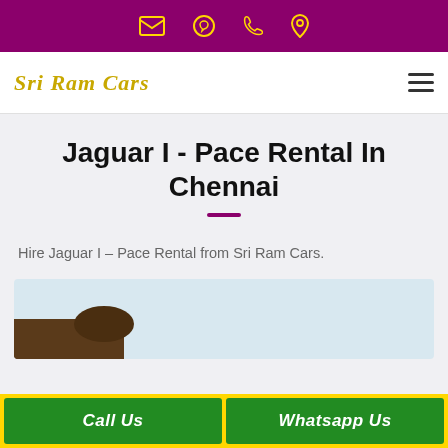[Top bar with email, WhatsApp, phone, and location icons]
Sri Ram Cars
Jaguar I - Pace Rental In Chennai
Hire Jaguar I – Pace Rental from Sri Ram Cars.
[Figure (photo): Partial image of Jaguar I-Pace car, showing the front corner of the vehicle against a light sky background]
Call Us
Whatsapp Us